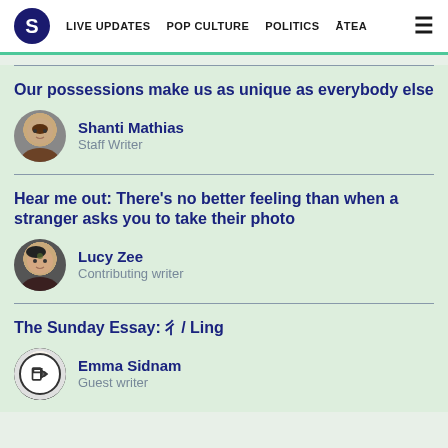S | LIVE UPDATES  POP CULTURE  POLITICS  ĀTEA
Our possessions make us as unique as everybody else
Shanti Mathias
Staff Writer
Hear me out: There's no better feeling than when a stranger asks you to take their photo
Lucy Zee
Contributing writer
The Sunday Essay: 彡/ Ling
Emma Sidnam
Guest writer